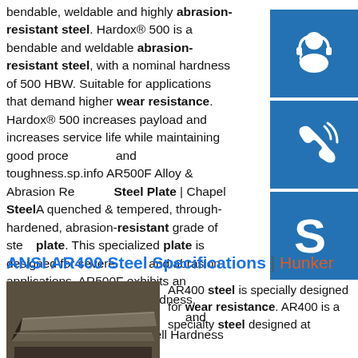bendable, weldable and highly abrasion-resistant steel. Hardox® 500 is a bendable and weldable abrasion-resistant steel, with a nominal hardness of 500 HBW. Suitable for applications that demand higher wear resistance. Hardox® 500 increases payload and increases service life while maintaining good processability and toughness.sp.info AR500F Alloy & Abrasion Resistant Steel Plate | Chapel SteelA quenched & tempered, through-hardened, abrasion-resistant grade of steel plate. This specialized plate is designed for severe wear and abrasion applications. AR500F exhibits an optimum combination of hardness, abrasion resistance, formability and weldability. The typical Brinell Hardness range is …
[Figure (illustration): Blue square button with white headset/customer support icon]
[Figure (illustration): Blue square button with white phone/call icon]
[Figure (illustration): Blue square button with white Skype icon]
ANSI AR400 Steel Specifications | Hunker
[Figure (photo): Photo of stacked abrasion-resistant steel plates, dark metallic color]
AR400 steel is specially designed for wear resistance. AR400 is a specialty steel designed at